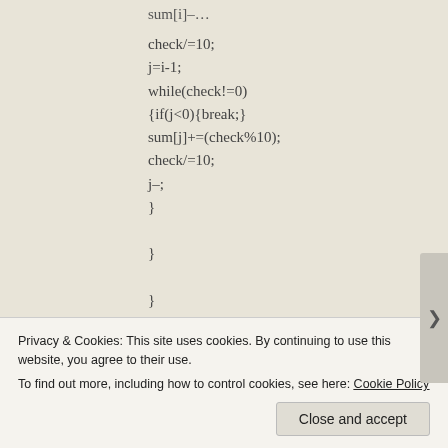sum[i]–…(truncated top)
check/=10;
j=i-1;
while(check!=0)
{if(j<0){break;}
sum[j]+=(check%10);
check/=10;
j–;
}

}

}
}
Privacy & Cookies: This site uses cookies. By continuing to use this website, you agree to their use.
To find out more, including how to control cookies, see here: Cookie Policy
[Close and accept]